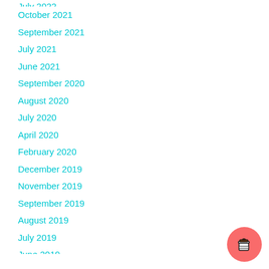October 2021
September 2021
July 2021
June 2021
September 2020
August 2020
July 2020
April 2020
February 2020
December 2019
November 2019
September 2019
August 2019
July 2019
June 2019